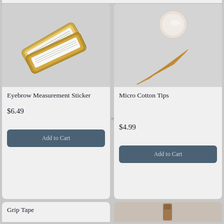[Figure (photo): Eyebrow Measurement Sticker product photo - gold/brass colored rectangular measurement tool cases]
[Figure (photo): Micro Cotton Tips product photo - cotton swabs and wooden toothpick-like applicators]
Eyebrow Measurement Sticker
$6.49
Add to Cart
Micro Cotton Tips
$4.99
Add to Cart
Grip Tape